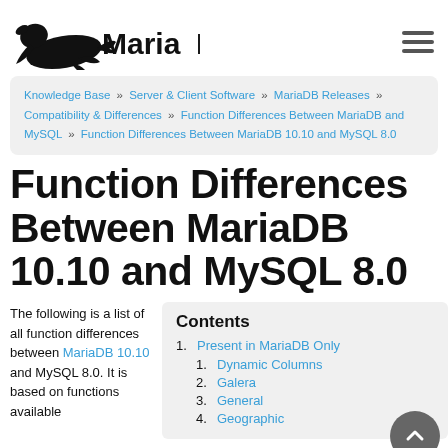[Figure (logo): MariaDB logo with seal/sea lion silhouette and 'MariaDB' text in bold]
Knowledge Base » Server & Client Software » MariaDB Releases » Compatibility & Differences » Function Differences Between MariaDB and MySQL » Function Differences Between MariaDB 10.10 and MySQL 8.0
Function Differences Between MariaDB 10.10 and MySQL 8.0
The following is a list of all function differences between MariaDB 10.10 and MySQL 8.0. It is based on functions available
Contents
1. Present in MariaDB Only
   1. Dynamic Columns
   2. Galera
   3. General
   4. Geographic